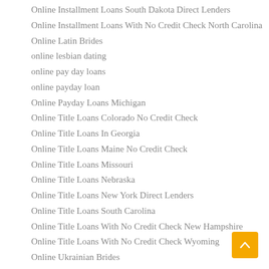Online Installment Loans South Dakota Direct Lenders
Online Installment Loans With No Credit Check North Carolina
Online Latin Brides
online lesbian dating
online pay day loans
online payday loan
Online Payday Loans Michigan
Online Title Loans Colorado No Credit Check
Online Title Loans In Georgia
Online Title Loans Maine No Credit Check
Online Title Loans Missouri
Online Title Loans Nebraska
Online Title Loans New York Direct Lenders
Online Title Loans South Carolina
Online Title Loans With No Credit Check New Hampshire
Online Title Loans With No Credit Check Wyoming
Online Ukrainian Brides
onlinedatingsingles.net free-dating-sites-online
open relationship dating sites
Order A Bride Online